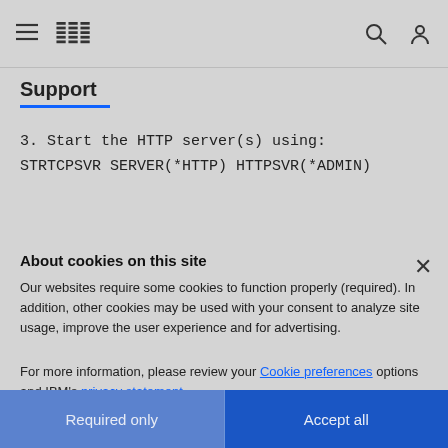IBM Support
Support
3. Start the HTTP server(s) using:
STRTCPSVR SERVER(*HTTP) HTTPSVR(*ADMIN)
About cookies on this site
Our websites require some cookies to function properly (required). In addition, other cookies may be used with your consent to analyze site usage, improve the user experience and for advertising.
For more information, please review your Cookie preferences options and IBM's privacy statement.
Required only | Accept all